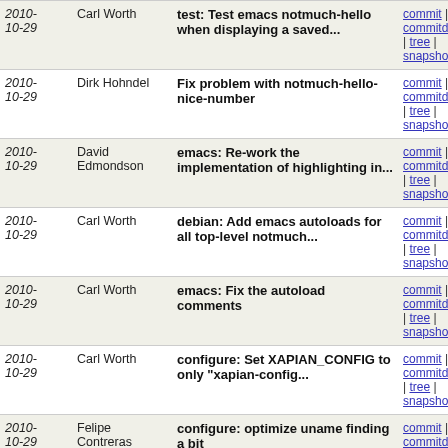| Date | Author | Commit message | Actions |
| --- | --- | --- | --- |
| 2010-10-29 | Carl Worth | test: Test emacs notmuch-hello when displaying a saved... | commit | commitdiff | tree | snapshot |
| 2010-10-29 | Dirk Hohndel | Fix problem with notmuch-hello-nice-number | commit | commitdiff | tree | snapshot |
| 2010-10-29 | David Edmondson | emacs: Re-work the implementation of highlighting in... | commit | commitdiff | tree | snapshot |
| 2010-10-29 | Carl Worth | debian: Add emacs autoloads for all top-level notmuch... | commit | commitdiff | tree | snapshot |
| 2010-10-29 | Carl Worth | emacs: Fix the autoload comments | commit | commitdiff | tree | snapshot |
| 2010-10-29 | Carl Worth | configure: Set XAPIAN_CONFIG to only "xapian-config... | commit | commitdiff | tree | snapshot |
| 2010-10-29 | Felipe Contreras | configure: optimize uname finding a bit | commit | commitdiff | tree | snapshot |
| 2010-10-29 | Carl Worth | Makefile: Fix notmuch binary to directly link against... | commit | commitdiff | tree | snapshot |
| 2010-10-29 | David Benjamin | Don't involve the shell in notmuch searches | commit | commitdiff | tree | snapshot |